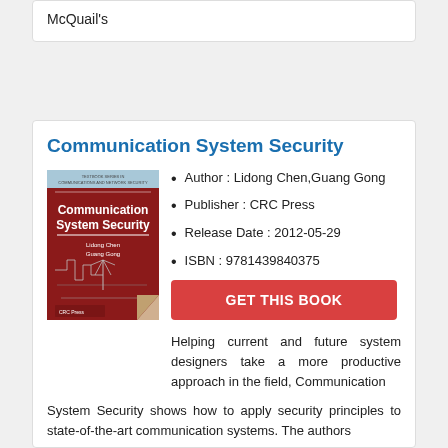McQuail's
Communication System Security
[Figure (illustration): Book cover of 'Communication System Security' by Lidong Chen and Guang Gong, published by CRC Press. Dark red/maroon cover with white text and circuit/communication system diagrams.]
Author : Lidong Chen,Guang Gong
Publisher : CRC Press
Release Date : 2012-05-29
ISBN : 9781439840375
GET THIS BOOK
Helping current and future system designers take a more productive approach in the field, Communication System Security shows how to apply security principles to state-of-the-art communication systems. The authors